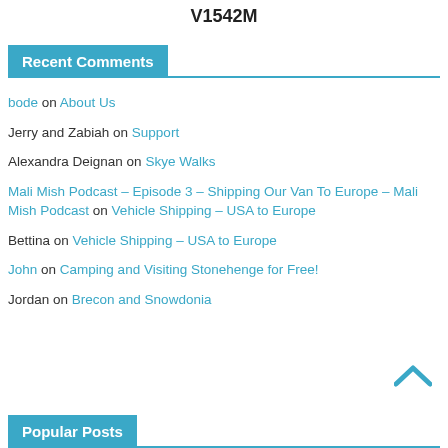V1542M
Recent Comments
bode on About Us
Jerry and Zabiah on Support
Alexandra Deignan on Skye Walks
Mali Mish Podcast – Episode 3 – Shipping Our Van To Europe – Mali Mish Podcast on Vehicle Shipping – USA to Europe
Bettina on Vehicle Shipping – USA to Europe
John on Camping and Visiting Stonehenge for Free!
Jordan on Brecon and Snowdonia
Popular Posts